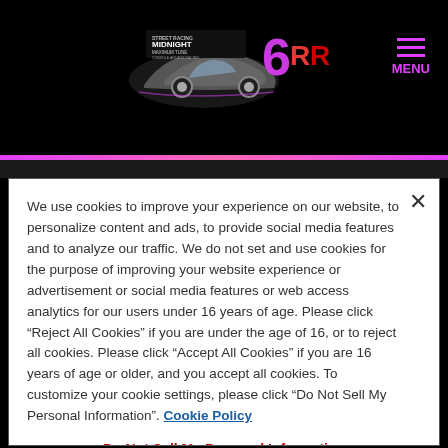[Figure (logo): Midnight club style racing game logo with stylized car and colorful text]
MENU
We use cookies to improve your experience on our website, to personalize content and ads, to provide social media features and to analyze our traffic. We do not set and use cookies for the purpose of improving your website experience or advertisement or social media features or web access analytics for our users under 16 years of age. Please click “Reject All Cookies” if you are under the age of 16, or to reject all cookies. Please click “Accept All Cookies” if you are 16 years of age or older, and you accept all cookies. To customize your cookie settings, please click “Do Not Sell My Personal Information”. Cookie Policy
Do Not Sell My Personal Information
Reject All Cookies